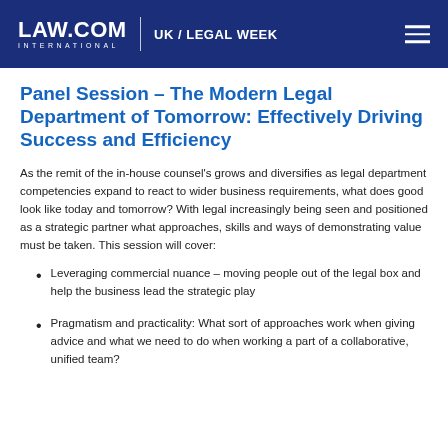LAW.COM INTERNATIONAL | UK / LEGAL WEEK
Panel Session – The Modern Legal Department of Tomorrow: Effectively Driving Success and Efficiency
As the remit of the in-house counsel's grows and diversifies as legal department competencies expand to react to wider business requirements, what does good look like today and tomorrow? With legal increasingly being seen and positioned as a strategic partner what approaches, skills and ways of demonstrating value must be taken. This session will cover:
Leveraging commercial nuance – moving people out of the legal box and help the business lead the strategic play
Pragmatism and practicality: What sort of approaches work when giving advice and what we need to do when working a part of a collaborative, unified team?